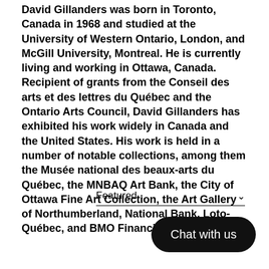David Gillanders was born in Toronto, Canada in 1968 and studied at the University of Western Ontario, London, and McGill University, Montreal. He is currently living and working in Ottawa, Canada. Recipient of grants from the Conseil des arts et des lettres du Québec and the Ontario Arts Council, David Gillanders has exhibited his work widely in Canada and the United States. His work is held in a number of notable collections, among them the Musée national des beaux-arts du Québec, the MNBAQ Art Bank, the City of Ottawa Fine Art Collection, the Art Gallery of Northumberland, National Bank, Loto-Québec, and BMO Financial Group.
Featured ∨
Chat with us